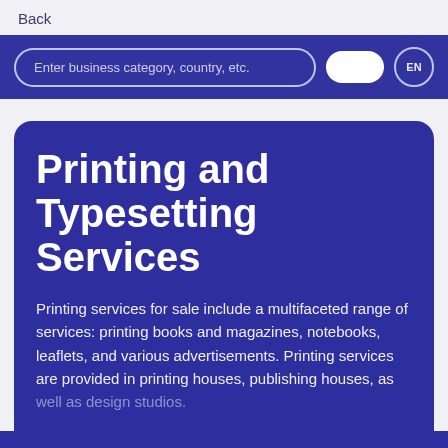Back
Enter business category, country, etc.
Printing and Typesetting Services
Printing services for sale include a multifaceted range of services: printing books and magazines, notebooks, leaflets, and various advertisements. Printing services are provided in printing houses, publishing houses, as well as design studios.